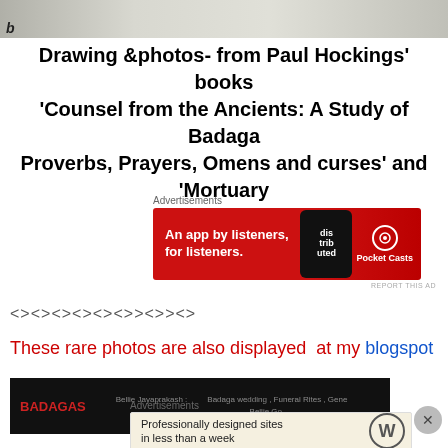[Figure (photo): Partial photograph showing blurred figures on a light background, with letter 'b' visible at top left]
Drawing &photos- from Paul Hockings' books ‘Counsel from the Ancients: A Study of Badaga Proverbs, Prayers, Omens and curses’ and ‘Mortuary rituals…’
Advertisements
[Figure (screenshot): Red Pocket Casts advertisement banner: 'An app by listeners, for listeners.' with phone graphic and Pocket Casts logo]
<><><><><><>><>><>
These rare photos are also displayed at my blogspot
[Figure (screenshot): Dark blog screenshot showing BADAGAS site header with text about Bellie Jayaprakash and Badaga wedding, Funeral Rites, Gene categories]
Advertisements
[Figure (screenshot): WordPress advertisement: 'Professionally designed sites in less than a week' with WordPress logo]